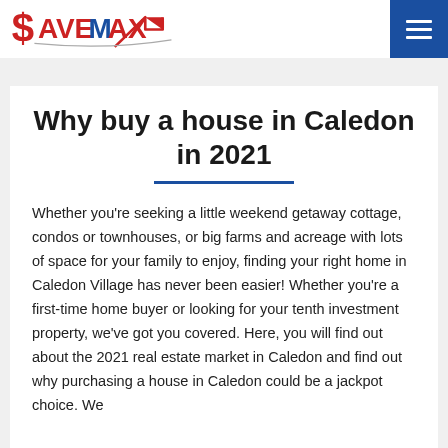Save Max
Why buy a house in Caledon in 2021
Whether you're seeking a little weekend getaway cottage, condos or townhouses, or big farms and acreage with lots of space for your family to enjoy, finding your right home in Caledon Village has never been easier! Whether you're a first-time home buyer or looking for your tenth investment property, we've got you covered. Here, you will find out about the 2021 real estate market in Caledon and find out why purchasing a house in Caledon could be a jackpot choice. We